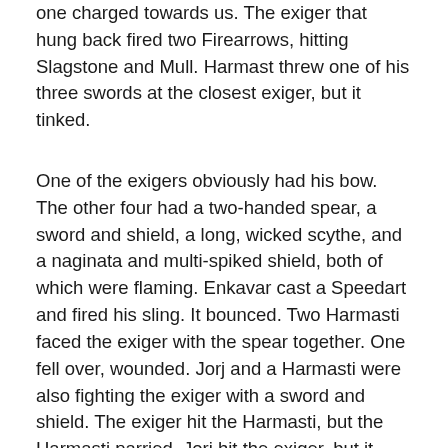one charged towards us. The exiger that hung back fired two Firearrows, hitting Slagstone and Mull. Harmast threw one of his three swords at the closest exiger, but it tinked.
One of the exigers obviously had his bow. The other four had a two-handed spear, a sword and shield, a long, wicked scythe, and a naginata and multi-spiked shield, both of which were flaming. Enkavar cast a Speedart and fired his sling. It bounced. Two Harmasti faced the exiger with the spear together. One fell over, wounded. Jorj and a Harmasti were also fighting the exiger with a sword and shield. The exiger hit the Harmasti, but the Harmasti parried. Jorj hit the exiger, but it tinked. Harmast, facing the exiger with the scythe traded blows using the iron sword to parry with. Acari and another Harmasti were fighting the exiger whose naginata and shield were aflame. The exiger tinked off of Acari, but he landed a blow on the exiger's head, wounding him. The Harmasti tinked and was missed in return. Slagstone and Mull, the troll with the two-handed sword faced the Gray Man. The Gray Man missed Mull while Slagstone, using a